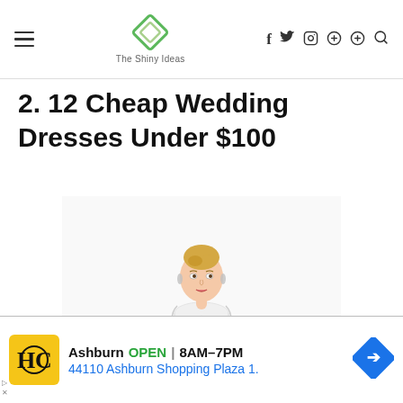The Shiny Ideas — navigation bar with hamburger menu, logo, and social icons (f, twitter, instagram, pinterest, search)
2. 12 Cheap Wedding Dresses Under $100
[Figure (photo): A young blonde woman wearing a white lace wedding dress with illusion neckline, photographed from the waist up against a white background.]
Ashburn  OPEN | 8AM–7PM   44110 Ashburn Shopping Plaza 1.